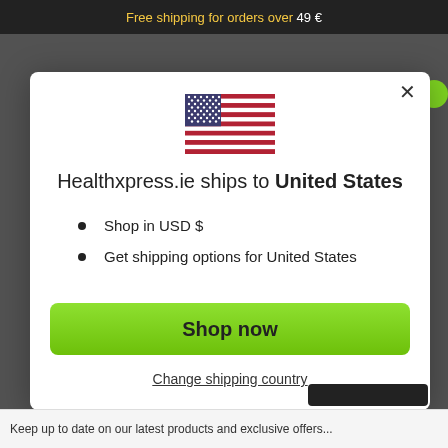Free shipping for orders over 49 €
[Figure (illustration): US flag emoji/icon]
Healthxpress.ie ships to United States
Shop in USD $
Get shipping options for United States
Shop now
Change shipping country
Keep up to date on our latest products and exclusive offers...